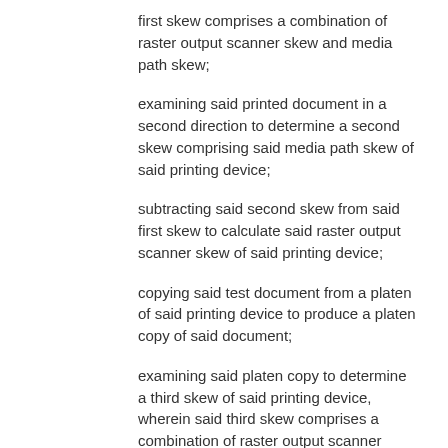first skew comprises a combination of raster output scanner skew and media path skew;
examining said printed document in a second direction to determine a second skew comprising said media path skew of said printing device;
subtracting said second skew from said first skew to calculate said raster output scanner skew of said printing device;
copying said test document from a platen of said printing device to produce a platen copy of said document;
examining said platen copy to determine a third skew of said printing device, wherein said third skew comprises a combination of raster output scanner skew, media path skew, and scanner image bar skew;
subtracting said first skew from said third skew to calculate said scanner image bar skew of said printing device;
copying said test document from a document handler of said printing device to produce a document handler copy of said